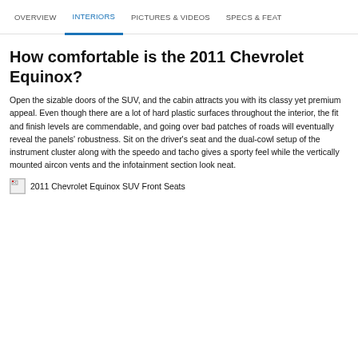OVERVIEW | INTERIORS | PICTURES & VIDEOS | SPECS & FEAT
How comfortable is the 2011 Chevrolet Equinox?
Open the sizable doors of the SUV, and the cabin attracts you with its classy yet premium appeal. Even though there are a lot of hard plastic surfaces throughout the interior, the fit and finish levels are commendable, and going over bad patches of roads will eventually reveal the panels' robustness. Sit on the driver's seat and the dual-cowl setup of the instrument cluster along with the speedo and tacho gives a sporty feel while the vertically mounted aircon vents and the infotainment section look neat.
[Figure (photo): Broken image placeholder for 2011 Chevrolet Equinox SUV Front Seats]
2011 Chevrolet Equinox SUV Front Seats